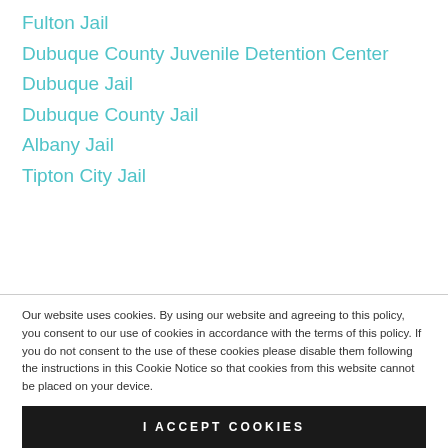Fulton Jail
Dubuque County Juvenile Detention Center
Dubuque Jail
Dubuque County Jail
Albany Jail
Tipton City Jail
Our website uses cookies. By using our website and agreeing to this policy, you consent to our use of cookies in accordance with the terms of this policy. If you do not consent to the use of these cookies please disable them following the instructions in this Cookie Notice so that cookies from this website cannot be placed on your device.
I ACCEPT COOKIES